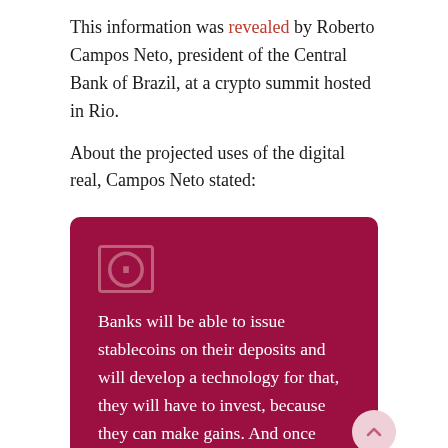This information was revealed by Roberto Campos Neto, president of the Central Bank of Brazil, at a crypto summit hosted in Rio.
About the projected uses of the digital real, Campos Neto stated:
Banks will be able to issue stablecoins on their deposits and will develop a technology for that, they will have to invest, because they can make gains. And once they have that developed, the protocols for issuing stablecoins on deposits will basically be the same thing as for monetizing various other digital assets.
Furthermore, Campos Neto explained that the digital real